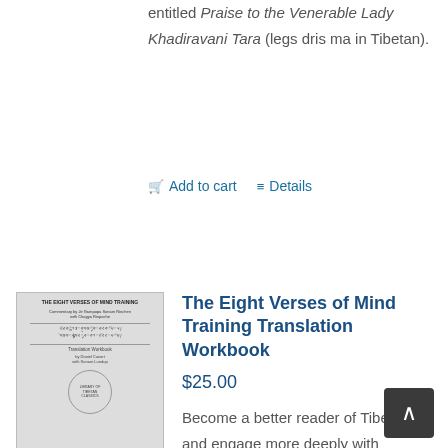entitled Praise to the Venerable Lady Khadiravani Tara (legs dris ma in Tibetan).
Add to cart   Details
[Figure (photo): Book cover thumbnail for The Eight Verses of Mind Training Translation Workbook]
The Eight Verses of Mind Training Translation Workbook
$25.00
Become a better reader of Tibetan and engage more deeply with authentic Dharma teachings. Although written a